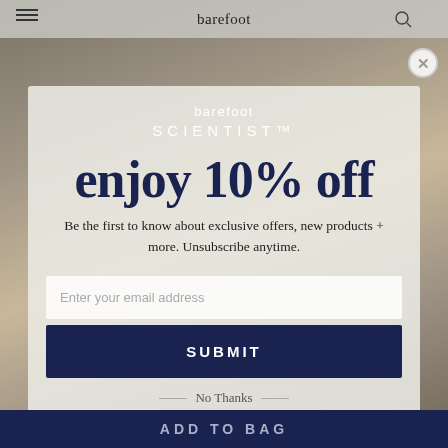barefoot
[Figure (screenshot): Background photo of multiple pairs of feet/toes at the beach, with colorful toenail polish, on a light sandy surface.]
barefoot SCIENTIST™
enjoy 10% off
Be the first to know about exclusive offers, new products + more. Unsubscribe anytime.
Enter your email address
SUBMIT
No Thanks
ADD TO BAG